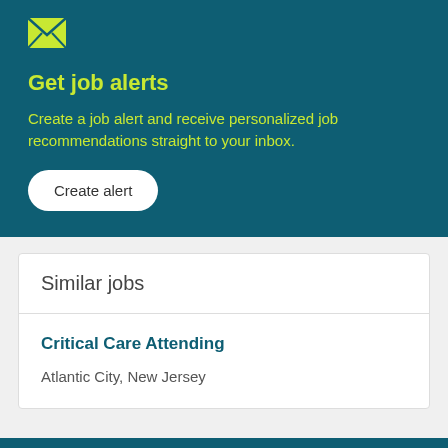[Figure (illustration): Envelope/mail icon in lime green on teal background]
Get job alerts
Create a job alert and receive personalized job recommendations straight to your inbox.
Create alert
Similar jobs
Critical Care Attending
Atlantic City, New Jersey